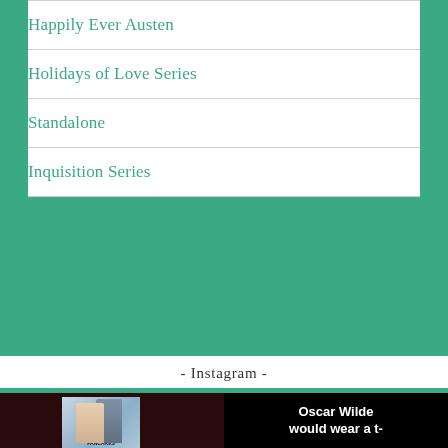Happily Ever Austen
Holidays of Love Series
Standalone
Inquisition Series
- Instagram -
[Figure (photo): Book cover for 'Pride & Pancakes' showing a couple, against dark brown background]
[Figure (photo): Black background with white text reading 'Oscar Wilde would wear a t-']